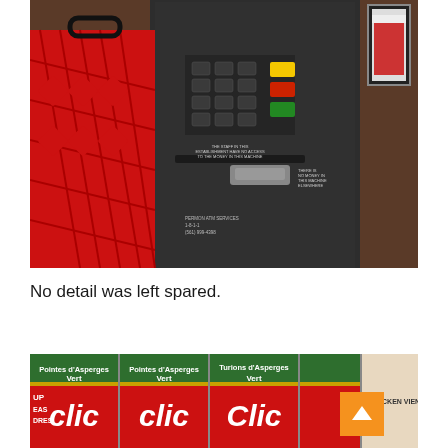[Figure (photo): A dark grey ATM machine with numeric keypad, yellow and red/green buttons, and small text stickers on the front. A red plastic shopping basket is visible to the left. A framed picture and brown wall visible to the right.]
No detail was left spared.
[Figure (photo): Rows of canned goods with red and green labels reading 'clic' and text including 'Pointes d'Asperges Vert', 'Turions d'Asperges Vert', 'PEAS', 'DRES', 'CHICKEN VIEN...' An orange scroll-up button is visible in the lower right corner.]